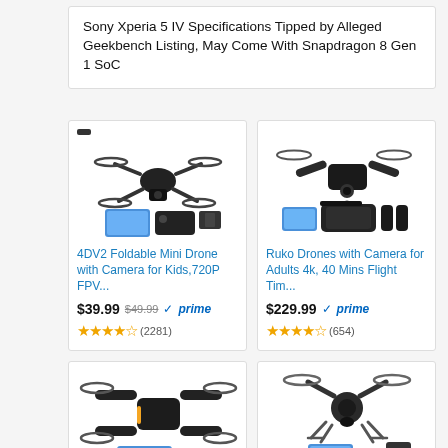Sony Xperia 5 IV Specifications Tipped by Alleged Geekbench Listing, May Come With Snapdragon 8 Gen 1 SoC
[Figure (photo): 4DV2 Foldable Mini Drone with Camera product photo showing drone with controller and accessories]
4DV2 Foldable Mini Drone with Camera for Kids,720P FPV...
$39.99 $49.99 prime (2281)
[Figure (photo): Ruko Drones with Camera for Adults 4k product photo showing drone with case and batteries]
Ruko Drones with Camera for Adults 4k, 40 Mins Flight Tim...
$229.99 prime (654)
[Figure (photo): Drone product photo - bottom left, partially visible]
[Figure (photo): Drone product photo - bottom right, partially visible]